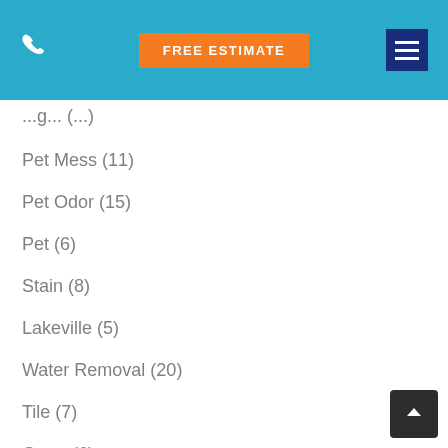FREE ESTIMATE
(...)
Pet Mess (11)
Pet Odor (15)
Pet (6)
Stain (8)
Lakeville (5)
Water Removal (20)
Tile (7)
Grout (6)
Couch (4)
Upholstery (15)